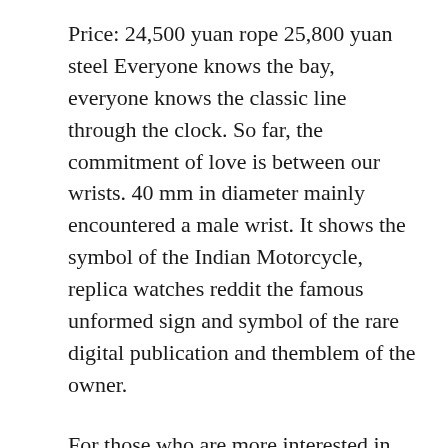Price: 24,500 yuan rope 25,800 yuan steel Everyone knows the bay, everyone knows the classic line through the clock. So far, the commitment of love is between our wrists. 40 mm in diameter mainly encountered a male wrist. It shows the symbol of the Indian Motorcycle, replica watches reddit the famous unformed sign and symbol of the rare digital publication and themblem of the owner.
For those who are more interested in Americans. Dark blue ceramic glasses can control whether it is worth control after 60 minutes andeals with diving. No rhythmini timer REF 5000S -000R-B139, harmony and rhythm Ref 5000S